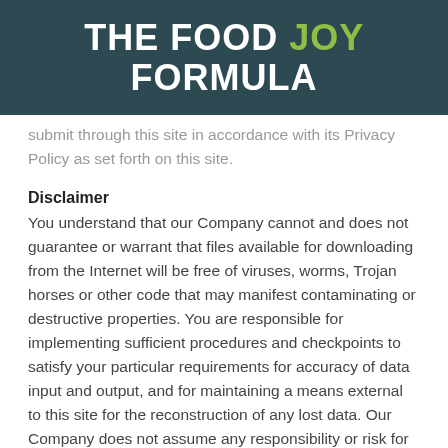THE FOOD JOY FORMULA
submit through this site in accordance with its Privacy Policy as set forth on this site.
Disclaimer
You understand that our Company cannot and does not guarantee or warrant that files available for downloading from the Internet will be free of viruses, worms, Trojan horses or other code that may manifest contaminating or destructive properties. You are responsible for implementing sufficient procedures and checkpoints to satisfy your particular requirements for accuracy of data input and output, and for maintaining a means external to this site for the reconstruction of any lost data. Our Company does not assume any responsibility or risk for your use of the Internet.